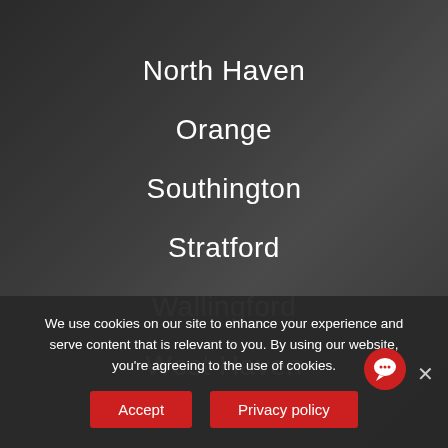North Haven
Orange
Southington
Stratford
Wallingford
West Haven
We use cookies on our site to enhance your experience and serve content that is relevant to you. By using our website, you're agreeing to the use of cookies.
Accept
Privacy policy